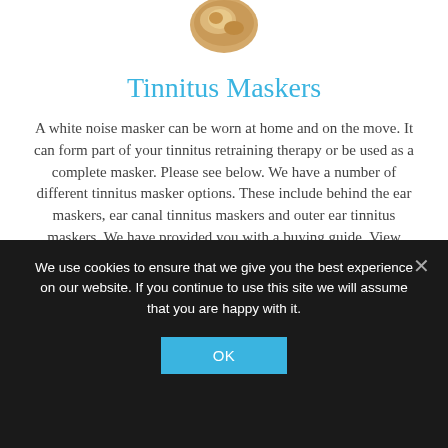[Figure (photo): Partial image of a beige/tan in-ear hearing aid device at the top of the page]
Tinnitus Maskers
A white noise masker can be worn at home and on the move. It can form part of your tinnitus retraining therapy or be used as a complete masker. Please see below. We have a number of different tinnitus masker options. These include behind the ear maskers, ear canal tinnitus maskers and outer ear tinnitus maskers. We have provided you with a buying guide. View Tinnitus Maskers
We use cookies to ensure that we give you the best experience on our website. If you continue to use this site we will assume that you are happy with it.